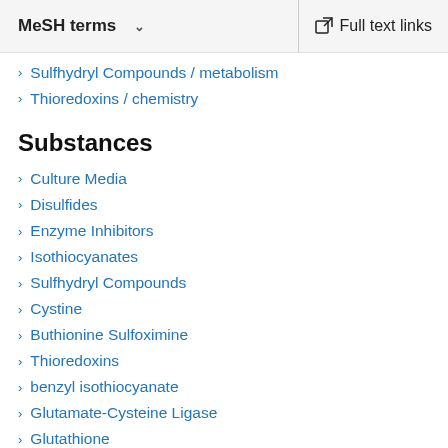MeSH terms   Full text links
Sulfhydryl Compounds / metabolism
Thioredoxins / chemistry
Substances
Culture Media
Disulfides
Enzyme Inhibitors
Isothiocyanates
Sulfhydryl Compounds
Cystine
Buthionine Sulfoximine
Thioredoxins
benzyl isothiocyanate
Glutamate-Cysteine Ligase
Glutathione
Cysteine